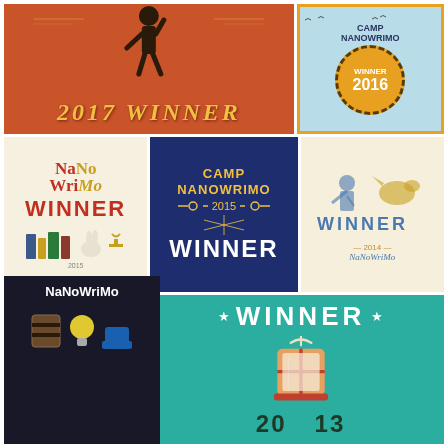[Figure (illustration): NaNoWriMo 2017 Winner badge - orange background with silhouette figure walking, text '2017 WINNER' in gold italic]
[Figure (illustration): Camp NaNoWriMo Winner 2016 badge - light blue background with gold circular badge and dashed border, yellow/orange circle with WINNER 2016]
[Figure (illustration): NaNoWriMo Winner 2015 badge - cream background with colorful NaNoWriMo logo and WINNER text, books and rabbit illustration]
[Figure (illustration): Camp NaNoWriMo 2015 Winner badge - dark navy background with gold CAMP NANOWRIMO text and white WINNER]
[Figure (illustration): NaNoWriMo Winner 2014 badge - cream background with knight and dragon illustration, blue WINNER text]
[Figure (illustration): Camp NaNoWriMo Winner 2014 badge - dark brown background with cream text CAMP NANO WRIMO and orange WINNER 2014 bar]
[Figure (illustration): Camp NaNoWriMo 2013 Winner badge - teal background with white WINNER and lantern illustration, numbers 20 13]
[Figure (illustration): NaNoWriMo pixel art badge - dark background with pixel art icons]